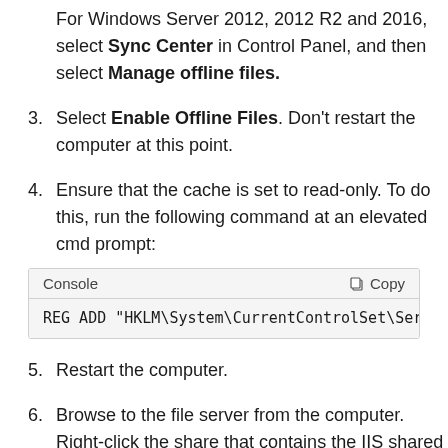For Windows Server 2012, 2012 R2 and 2016, select Sync Center in Control Panel, and then select Manage offline files.
3. Select Enable Offline Files. Don't restart the computer at this point.
4. Ensure that the cache is set to read-only. To do this, run the following command at an elevated cmd prompt:
REG ADD "HKLM\System\CurrentControlSet\Serv
5. Restart the computer.
6. Browse to the file server from the computer. Right-click the share that contains the IIS shared